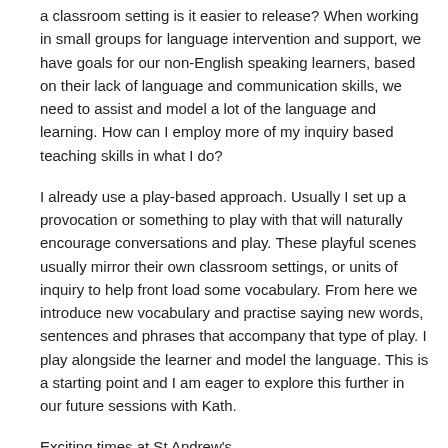a classroom setting is it easier to release? When working in small groups for language intervention and support, we have goals for our non-English speaking learners, based on their lack of language and communication skills, we need to assist and model a lot of the language and learning. How can I employ more of my inquiry based teaching skills in what I do?
I already use a play-based approach. Usually I set up a provocation or something to play with that will naturally encourage conversations and play. These playful scenes usually mirror their own classroom settings, or units of inquiry to help front load some vocabulary. From here we introduce new vocabulary and practise saying new words, sentences and phrases that accompany that type of play. I play alongside the learner and model the language. This is a starting point and I am eager to explore this further in our future sessions with Kath.
Exciting times at St Andrew's.
Until the next session.